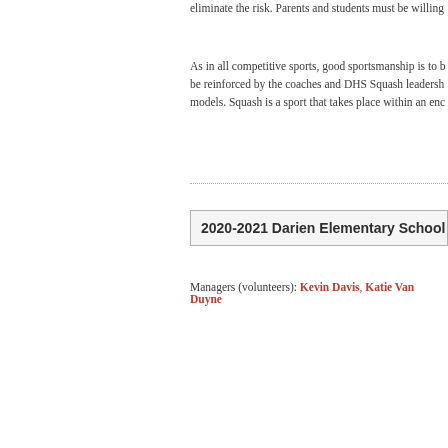eliminate the risk. Parents and students must be willing
As in all competitive sports, good sportsmanship is to b be reinforced by the coaches and DHS Squash leadersh models. Squash is a sport that takes place within an enc
2020-2021 Darien Elementary School Team
Managers (volunteers): Kevin Davis, Katie Van Duyne